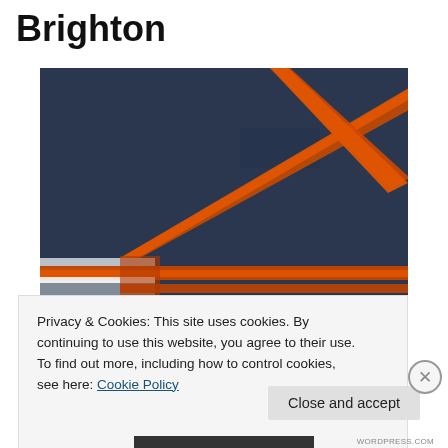Brighton
[Figure (photo): Abstract painting with dark navy/blue background and diagonal orange stripes crossing the canvas, with a lighter section on the left side.]
Privacy & Cookies: This site uses cookies. By continuing to use this website, you agree to their use.
To find out more, including how to control cookies, see here: Cookie Policy